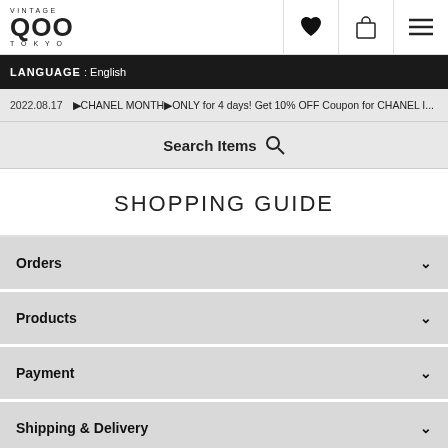VINTAGE QOO TOKYO
LANGUAGE : English
2022.08.17  ▶CHANEL MONTH▶ONLY for 4 days! Get 10% OFF Coupon for CHANEL I...
Search Items 🔍
SHOPPING GUIDE
Orders
Products
Payment
Shipping & Delivery
Our Service